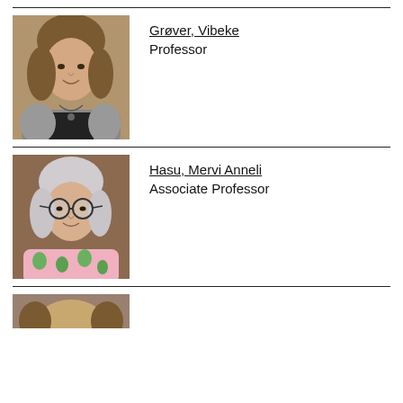[Figure (photo): Portrait photo of Vibeke Grøver, a woman with brown shoulder-length hair, wearing a gray cardigan and black top with a necklace]
Grøver, Vibeke
Professor
[Figure (photo): Portrait photo of Mervi Anneli Hasu, a woman with short white/silver hair and round glasses, wearing a floral pink and green top]
Hasu, Mervi Anneli
Associate Professor
[Figure (photo): Partial portrait photo of a third person, cropped at bottom of page]